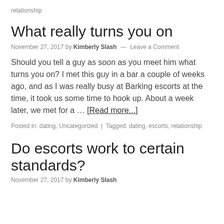relationship
What really turns you on
November 27, 2017 by Kimberly Slash — Leave a Comment
Should you tell a guy as soon as you meet him what turns you on? I met this guy in a bar a couple of weeks ago, and as I was really busy at Barking escorts at the time, it took us some time to hook up. About a week later, we met for a … [Read more...]
Posted in: dating, Uncategorized | Tagged: dating, escorts, relationship
Do escorts work to certain standards?
November 27, 2017 by Kimberly Slash